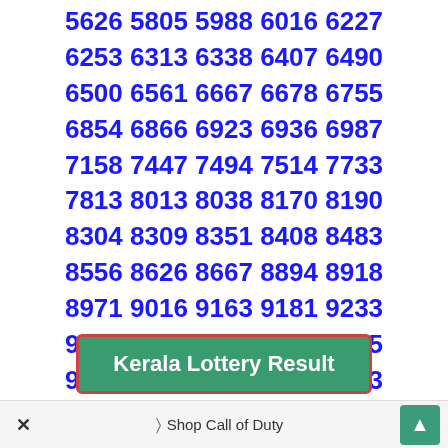5626 5805 5988 6016 6227 6253 6313 6338 6407 6490 6500 6561 6667 6678 6755 6854 6866 6923 6936 6987 7158 7447 7494 7514 7733 7813 8013 8038 8170 8190 8304 8309 8351 8408 8483 8556 8626 8667 8894 8918 8971 9016 9163 9181 9233 9239 9262 9310 9346 9595 9715 9815 9830 9839 9923 9986
Kerala Lottery Result
Fifty Fifty FF 14
× Shop Call of Duty ▲